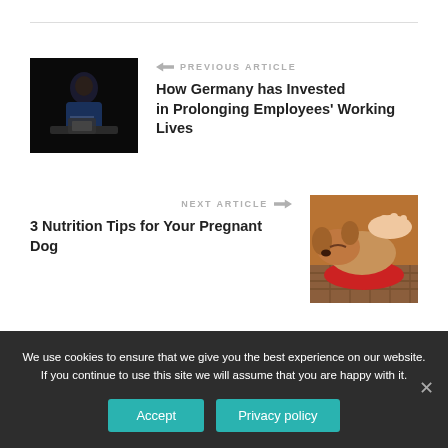[Figure (photo): Dark photo of a child or person sitting at a desk under dim light, wearing a blue hoodie, appearing to work or write. Used as thumbnail for previous article.]
← PREVIOUS ARTICLE
How Germany has Invested in Prolonging Employees' Working Lives
NEXT ARTICLE →
3 Nutrition Tips for Your Pregnant Dog
[Figure (photo): Close-up photo of a sleeping puppy (golden/brown dog) nestled in a wicker basket with a red blanket, with a human hand gently resting on it.]
We use cookies to ensure that we give you the best experience on our website. If you continue to use this site we will assume that you are happy with it.
Accept
Privacy policy